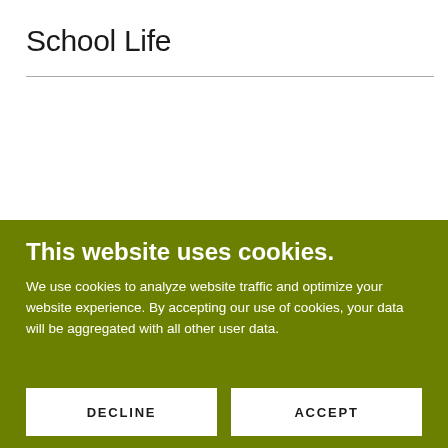School Life
This website uses cookies.
We use cookies to analyze website traffic and optimize your website experience. By accepting our use of cookies, your data will be aggregated with all other user data.
DECLINE
ACCEPT